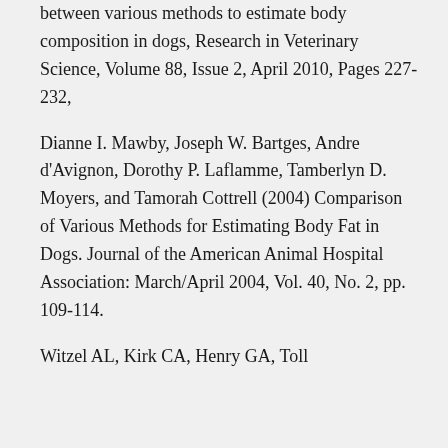between various methods to estimate body composition in dogs, Research in Veterinary Science, Volume 88, Issue 2, April 2010, Pages 227-232,
Dianne I. Mawby, Joseph W. Bartges, Andre d'Avignon, Dorothy P. Laflamme, Tamberlyn D. Moyers, and Tamorah Cottrell (2004) Comparison of Various Methods for Estimating Body Fat in Dogs. Journal of the American Animal Hospital Association: March/April 2004, Vol. 40, No. 2, pp. 109-114.
Witzel AL, Kirk CA, Henry GA, Toll